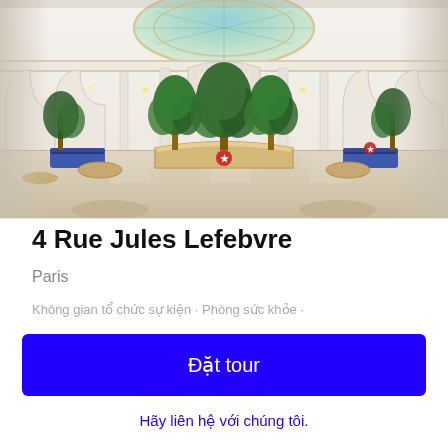[Figure (photo): Interior of a grand hotel lobby with ornate white architecture, a stained glass domed ceiling, circular reception desk, blue velvet seating, and large potted tropical plants]
4 Rue Jules Lefebvre
Paris
Không gian tổ chức sự kiện · Phòng sức khỏe ·
Đặt tour
Hãy liên hệ với chúng tôi.